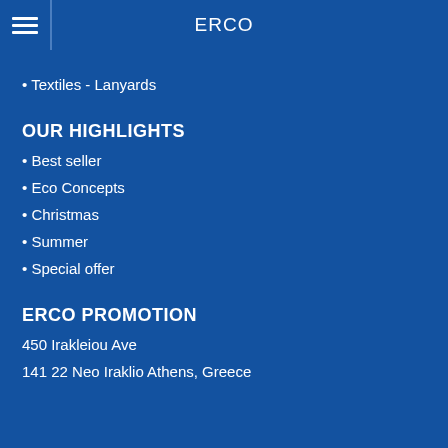ERCO
• Textiles - Lanyards
OUR HIGHLIGHTS
• Best seller
• Eco Concepts
• Christmas
• Summer
• Special offer
ERCO PROMOTION
450 Irakleiou Ave
141 22 Neo Iraklio Athens, Greece